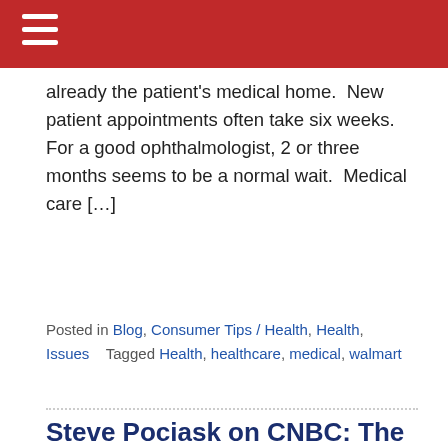≡
already the patient's medical home.  New patient appointments often take six weeks.  For a good ophthalmologist, 2 or three months seems to be a normal wait.  Medical care […]
Posted in Blog, Consumer Tips / Health, Health, Issues   Tagged Health, healthcare, medical, walmart
Steve Pociask on CNBC: The Good and the Bad News about This Year's Holiday Shopping Season
Posted on December 21, 2009 by Steve Pociask
To read ACI's latest news article on CNBC.com, visit http://www.cnbc.com:80/id/34481358 To read our